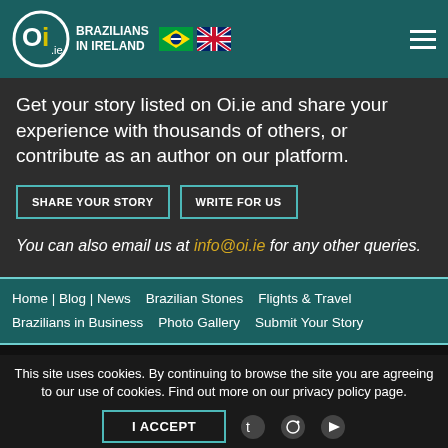Oi.ie — BRAZILIANS IN IRELAND
Get your story listed on Oi.ie and share your experience with thousands of others, or contribute as an author on our platform.
SHARE YOUR STORY   WRITE FOR US
You can also email us at info@oi.ie for any other queries.
Home | Blog | News   Brazilian Stones   Flights & Travel   Brazilians in Business   Photo Gallery   Submit Your Story
This site uses cookies. By continuing to browse the site you are agreeing to our use of cookies. Find out more on our privacy policy page.
I ACCEPT